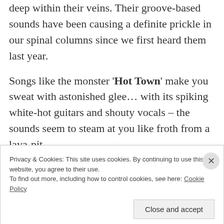deep within their veins. Their groove-based sounds have been causing a definite prickle in our spinal columns since we first heard them last year.

Songs like the monster 'Hot Town' make you sweat with astonished glee… with its spiking white-hot guitars and shouty vocals – the sounds seem to steam at you like froth from a lava-pit.
Privacy & Cookies: This site uses cookies. By continuing to use this website, you agree to their use.
To find out more, including how to control cookies, see here: Cookie Policy
Close and accept